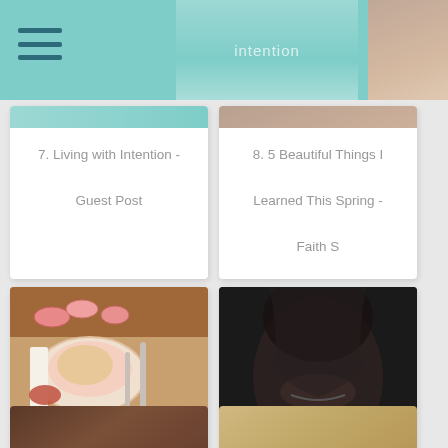[Figure (screenshot): Top teal navigation bar with hamburger menu icon]
[Figure (photo): Partial image top of card 7 - Living with Intention, teal background with text]
7. Living with Intention - Guest Post
[Figure (photo): Partial image top of card 8 - woman's face]
8. 5 Beautiful Things I Learned This Spring - Faith S
[Figure (photo): Food photo - plate with croissant, jam, utensils viewed from above]
9. You can't eat pancakes with a furry fork. - David'
[Figure (photo): Black and white portrait photo - close up of woman's face lower half]
10. What if they knew [who I really WAS]?
[Figure (photo): Partial bottom card - dark brown tones, hair]
[Figure (photo): Partial bottom card - golden/blonde hair tones]